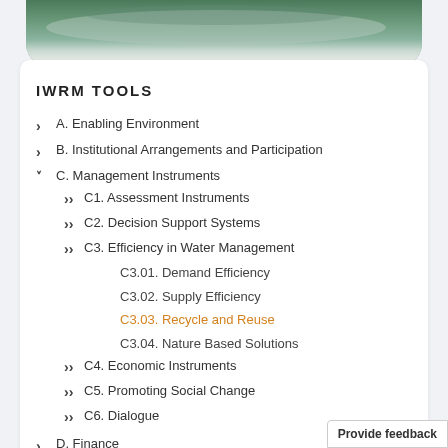[Figure (photo): Aerial or close-up photo of a water treatment facility with circular concrete tanks and greenery]
IWRM TOOLS
A. Enabling Environment
B. Institutional Arrangements and Participation
C. Management Instruments
C1. Assessment Instruments
C2. Decision Support Systems
C3. Efficiency in Water Management
C3.01. Demand Efficiency
C3.02. Supply Efficiency
C3.03. Recycle and Reuse
C3.04. Nature Based Solutions
C4. Economic Instruments
C5. Promoting Social Change
C6. Dialogue
D. Finance